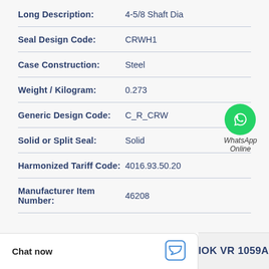| Property | Value |
| --- | --- |
| Long Description: | 4-5/8 Shaft Dia |
| Seal Design Code: | CRWH1 |
| Case Construction: | Steel |
| Weight / Kilogram: | 0.273 |
| Generic Design Code: | C_R_CRW |
| Solid or Split Seal: | Solid |
| Harmonized Tariff Code: | 4016.93.50.20 |
| Manufacturer Item Number: | 46208 |
[Figure (logo): WhatsApp green circle logo with phone icon, and text 'WhatsApp Online']
Chat now
IOK VR 1059A